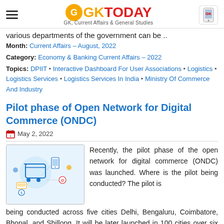GK TODAY — GK, Current Affairs & General Studies
various departments of the government can be ..
Month: Current Affairs – August, 2022
Category: Economy & Banking Current Affairs – 2022
Topics: DPIIT • Interactive Dashboard For User Associations • Logistics • Logistics Services • Logistics Services In India • Ministry Of Commerce And Industry
Pilot phase of Open Network for Digital Commerce (ONDC)
May 2, 2022
[Figure (illustration): Digital commerce illustration showing shopping cart, mobile devices, and digital icons in blue tones]
Recently, the pilot phase of the open network for digital commerce (ONDC) was launched. Where is the pilot being conducted? The pilot is being conducted across five cities Delhi, Bengaluru, Coimbatore, Bhopal, and Shillong. It will be later launched in 100 cities over six months. What is Open